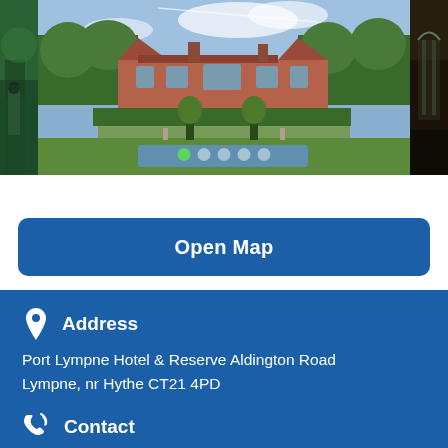[Figure (photo): Photo strip showing Port Lympne Hotel and Reserve. Left strip shows green foliage/gate. Center image shows a large red-brick historic manor house with formal gardens and a reflecting pool. Right strip shows a dark interior scene. Carousel navigation dots visible at bottom of center image.]
Open Map
Address
Port Lympne Hotel & Reserve Aldington Road Lympne, nr Hythe CT21 4PD
Contact
01303 234111